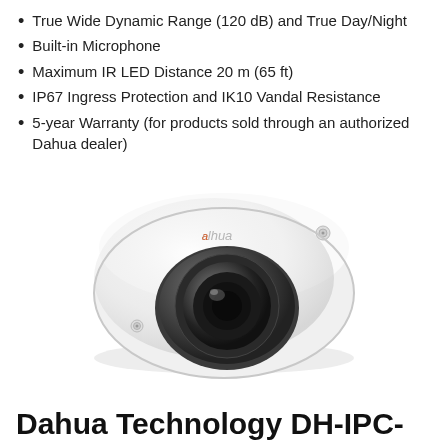True Wide Dynamic Range (120 dB) and True Day/Night
Built-in Microphone
Maximum IR LED Distance 20 m (65 ft)
IP67 Ingress Protection and IK10 Vandal Resistance
5-year Warranty (for products sold through an authorized Dahua dealer)
[Figure (photo): Dahua dome security camera, white housing with dark dome lens, showing the Dahua logo on top. The camera is a compact flat dome design with two visible screw holes on the housing.]
Dahua Technology DH-IPC-